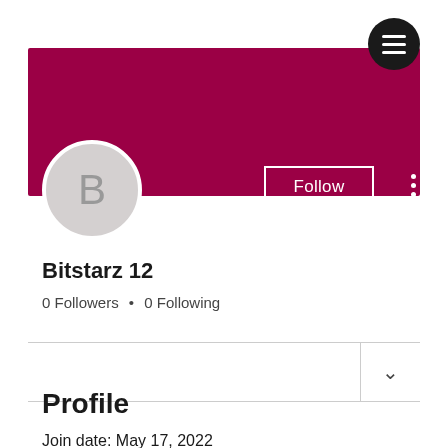[Figure (screenshot): User profile page screenshot showing a crimson/magenta cover banner, circular avatar with letter B, Follow button, username Bitstarz 12, followers info, dropdown row, Profile section header, and join date]
Bitstarz 12
0 Followers • 0 Following
Profile
Join date: May 17, 2022